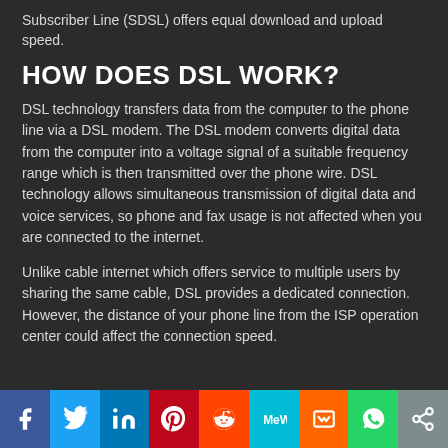Subscriber Line (SDSL) offers equal download and upload speed.
HOW DOES DSL WORK?
DSL technology transfers data from the computer to the phone line via a DSL modem. The DSL modem converts digital data from the computer into a voltage signal of a suitable frequency range which is then transmitted over the phone wire. DSL technology allows simultaneous transmission of digital data and voice services, so phone and fax usage is not affected when you are connected to the internet.
Unlike cable internet which offers service to multiple users by sharing the same cable, DSL provides a dedicated connection. However, the distance of your phone line from the ISP operation center could affect the connection speed.
[Figure (infographic): Social media sharing bar with icons: Facebook, Twitter, LinkedIn, Pinterest, Reddit, MeWe, Mix, WhatsApp, Share]